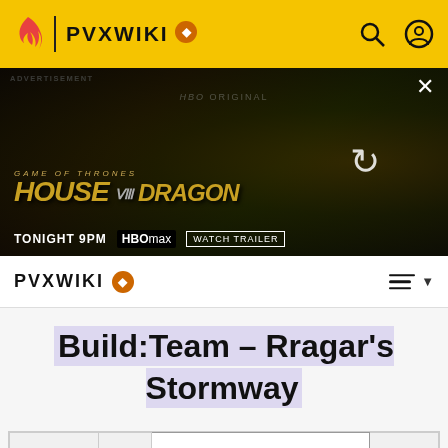PVXWIKI
[Figure (screenshot): Advertisement banner for HBO Max - House of the Dragon, GAME OF THRONES, TONIGHT 9PM, HBO max, WATCH TRAILER]
PVXWIKI
Build:Team - Rragar's Stormway
|  |  | This build is provisionally vetted good pending more |  |